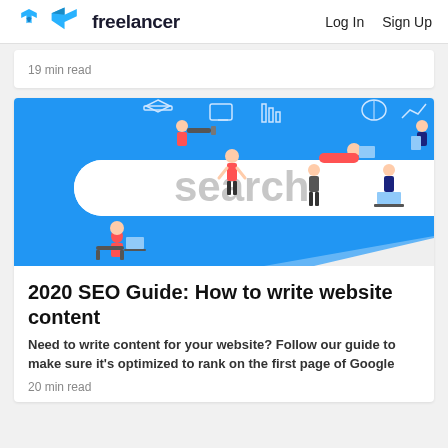freelancer  Log In  Sign Up
19 min read
[Figure (illustration): SEO themed illustration on a blue background showing a large search bar with the word 'search' in gray, an orange search button with a magnifying glass icon, and various illustrated people interacting with digital/internet icons like a graduation cap, bar chart, and brain icon.]
2020 SEO Guide: How to write website content
Need to write content for your website? Follow our guide to make sure it's optimized to rank on the first page of Google
20 min read